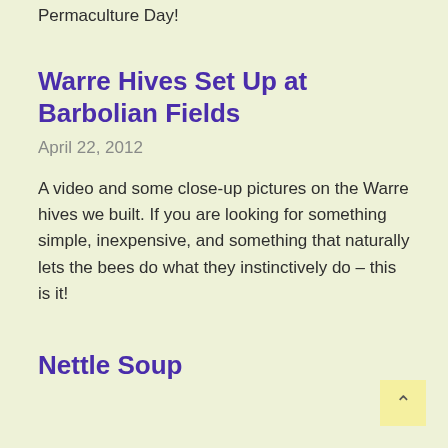Permaculture Day!
Warre Hives Set Up at Barbolian Fields
April 22, 2012
A video and some close-up pictures on the Warre hives we built. If you are looking for something simple, inexpensive, and something that naturally lets the bees do what they instinctively do – this is it!
Nettle Soup